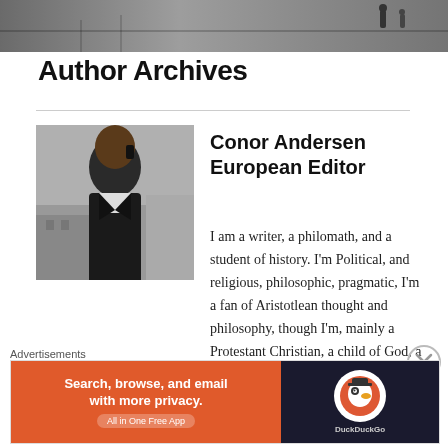[Figure (photo): Top banner with dark urban/architectural background photo strip]
Author Archives
[Figure (photo): Profile photo of a man in dark jacket talking on a phone, outdoors with architectural background]
Conor Andersen European Editor
I am a writer, a philomath, and a student of history. I'm Political, and religious, philosophic, pragmatic, I'm a fan of Aristotlean thought and philosophy, though I'm, mainly a Protestant Christian, a child of God, a friend, and follower of the teachings, of Jesus Christ. I learned about
Advertisements
[Figure (other): DuckDuckGo advertisement banner: orange left section reading 'Search, browse, and email with more privacy. All in One Free App', dark right section with DuckDuckGo logo]